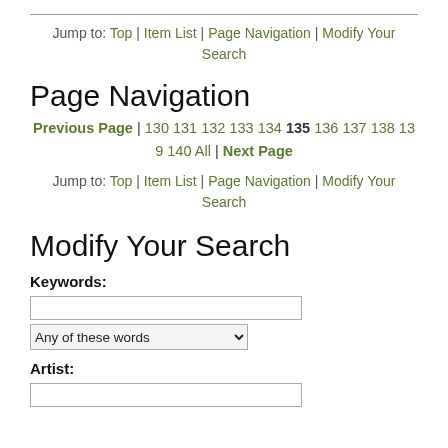Jump to: Top | Item List | Page Navigation | Modify Your Search
Page Navigation
Previous Page | 130 131 132 133 134 135 136 137 138 139 140 All | Next Page
Jump to: Top | Item List | Page Navigation | Modify Your Search
Modify Your Search
Keywords:
Any of these words
Artist: